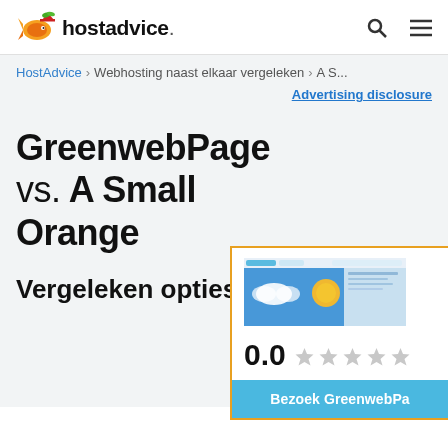hostadvice.
HostAdvice > Webhosting naast elkaar vergeleken > A S...
Advertising disclosure
GreenwebPage vs. A Small Orange
Vergeleken opties
[Figure (screenshot): Screenshot of GreenwebPage website thumbnail]
0.0 (star rating, 5 empty stars)
Bezoek GreenwebPa...